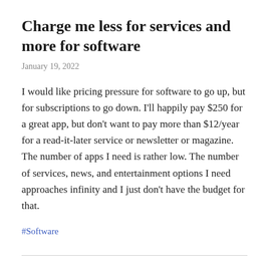Charge me less for services and more for software
January 19, 2022
I would like pricing pressure for software to go up, but for subscriptions to go down. I'll happily pay $250 for a great app, but don't want to pay more than $12/year for a read-it-later service or newsletter or magazine. The number of apps I need is rather low. The number of services, news, and entertainment options I need approaches infinity and I just don't have the budget for that.
#Software